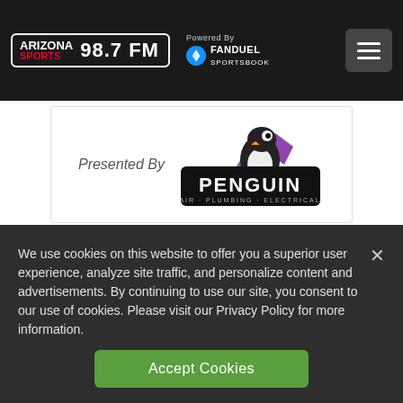Arizona Sports 98.7 FM — Powered By FanDuel Sportsbook
[Figure (logo): Penguin Air Plumbing Electrical logo with text 'Presented By']
3 Comments   Share
We use cookies on this website to offer you a superior user experience, analyze site traffic, and personalize content and advertisements. By continuing to use our site, you consent to our use of cookies. Please visit our Privacy Policy for more information.
Accept Cookies